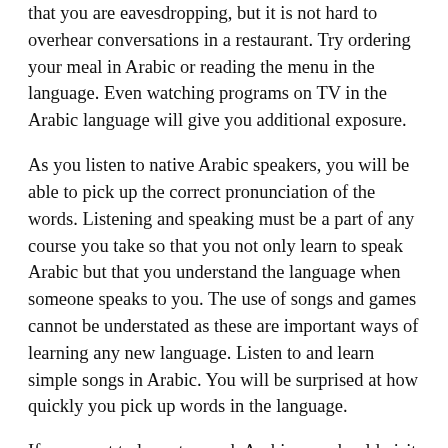that you are eavesdropping, but it is not hard to overhear conversations in a restaurant. Try ordering your meal in Arabic or reading the menu in the language. Even watching programs on TV in the Arabic language will give you additional exposure.
As you listen to native Arabic speakers, you will be able to pick up the correct pronunciation of the words. Listening and speaking must be a part of any course you take so that you not only learn to speak Arabic but that you understand the language when someone speaks to you. The use of songs and games cannot be understated as these are important ways of learning any new language. Listen to and learn simple songs in Arabic. You will be surprised at how quickly you pick up words in the language.
If you want to learn to speak Arabic you should visit http://Arabic.Speak7.com . This site will teach you: Arabic